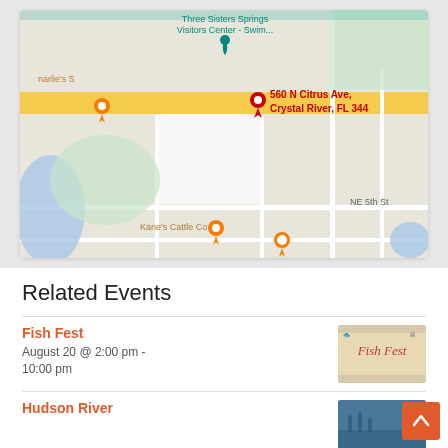[Figure (map): Google Maps screenshot showing Crystal River, FL area with a red pin marker at 560 N Citrus Ave, Crystal River, FL 344. Shows nearby landmarks including Three Sisters Springs Visitors Center, Kane's Cattle Co, Fun 2 Dive - Swim with Manatees, and street labels NE 5th St, NW 3rd St, NE 3rd St, NE 2nd St.]
Related Events
Fish Fest
August 20 @ 2:00 pm - 10:00 pm
[Figure (photo): Fish Fest event promotional image with cursive Fish Fest text on a beige/tan background]
Hudson River
[Figure (photo): Hudson River event promotional image, partially visible, showing people or outdoor scene]